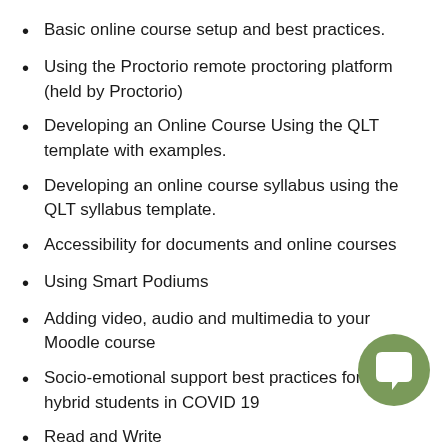Basic online course setup and best practices.
Using the Proctorio remote proctoring platform (held by Proctorio)
Developing an Online Course Using the QLT template with examples.
Developing an online course syllabus using the QLT syllabus template.
Accessibility for documents and online courses
Using Smart Podiums
Adding video, audio and multimedia to your Moodle course
Socio-emotional support best practices for online hybrid students in COVID 19
Read and Write
Turn it in